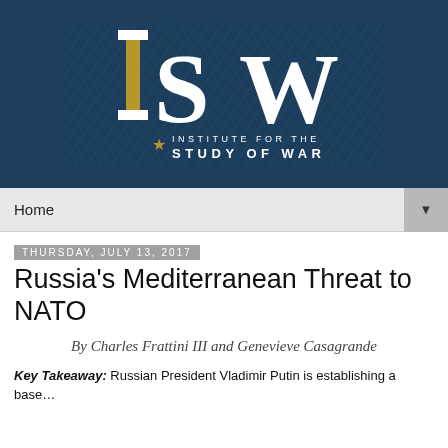[Figure (logo): Institute for the Study of War (ISW) logo — large white letters ISW on dark navy background with gold star and subtitle text]
Home ▼
Thursday, July 13, 2017
Russia's Mediterranean Threat to NATO
By Charles Frattini III and Genevieve Casagrande
Key Takeaway: Russian President Vladimir Putin is establishing a base…